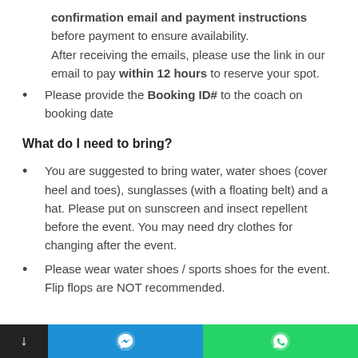confirmation email and payment instructions before payment to ensure availability. After receiving the emails, please use the link in our email to pay within 12 hours to reserve your spot.
Please provide the Booking ID# to the coach on booking date
What do I need to bring?
You are suggested to bring water, water shoes (cover heel and toes), sunglasses (with a floating belt) and a hat. Please put on sunscreen and insect repellent before the event. You may need dry clothes for changing after the event.
Please wear water shoes / sports shoes for the event. Flip flops are NOT recommended.